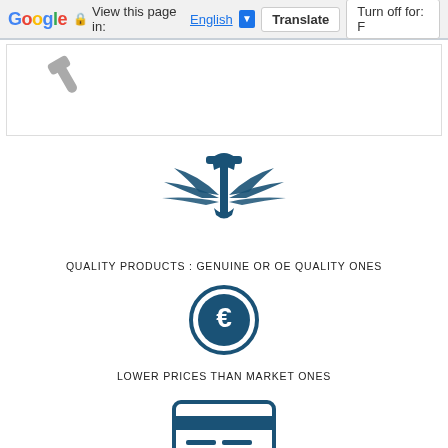Google  View this page in: English [▼]  Translate  Turn off for: F
[Figure (screenshot): Partial image with wrench/tool icon visible at top]
[Figure (illustration): Winged wrench icon in dark blue representing quality products]
QUALITY PRODUCTS : GENUINE OR OE QUALITY ONES
[Figure (illustration): Euro coin/currency icon in dark blue circle representing lower prices]
LOWER PRICES THAN MARKET ONES
[Figure (illustration): Credit card icon in dark blue representing security and privacy]
RESPECT OF YOU LIBERTIES AND SECURITY